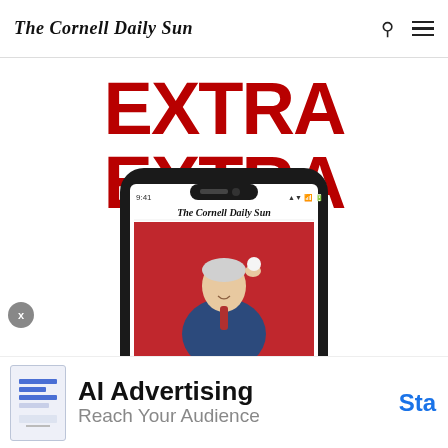The Cornell Daily Sun
EXTRA EXTRA
[Figure (screenshot): A smartphone displaying The Cornell Daily Sun app, showing a photo of Joe Biden and a headline reading 'Joe Biden Tells Cornell Seniors: Go Out and Wake Us Up']
AI Advertising
Reach Your Audience
Sta